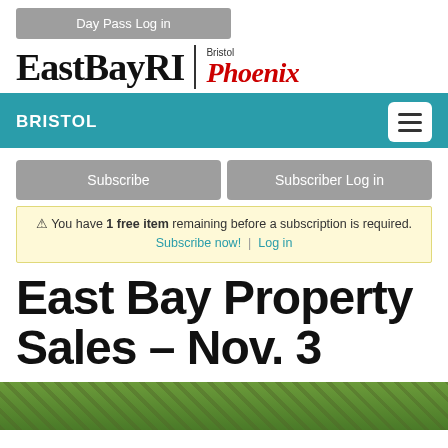Day Pass Log in
[Figure (logo): EastBayRI | Bristol Phoenix logo header]
BRISTOL
Subscribe
Subscriber Log in
⚠ You have 1 free item remaining before a subscription is required. Subscribe now! | Log in
East Bay Property Sales – Nov. 3
[Figure (photo): Partial outdoor/nature photo at bottom of page]